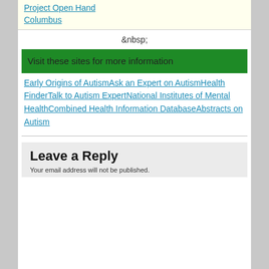Project Open Hand Columbus
&nbsp;
Visit these sites for more information
Early Origins of AutismAsk an Expert on AutismHealth FinderTalk to Autism ExpertNational Institutes of Mental HealthCombined Health Information DatabaseAbstracts on Autism
Leave a Reply
Your email address will not be published.